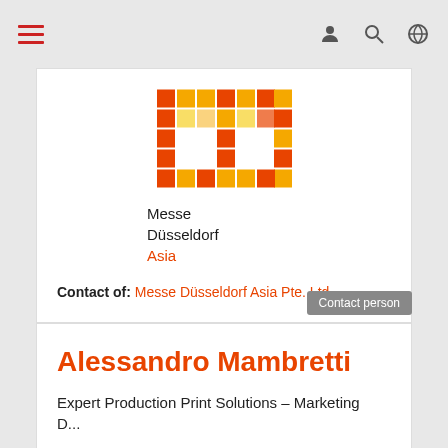Navigation bar with hamburger menu and icons
[Figure (logo): Messe Düsseldorf Asia logo — pixelated mosaic 'm' shape in orange/red squares, with text 'Messe Düsseldorf Asia' below]
Contact of: Messe Düsseldorf Asia Pte. Ltd.
Contact person
Alessandro Mambretti
Expert Production Print Solutions – Marketing